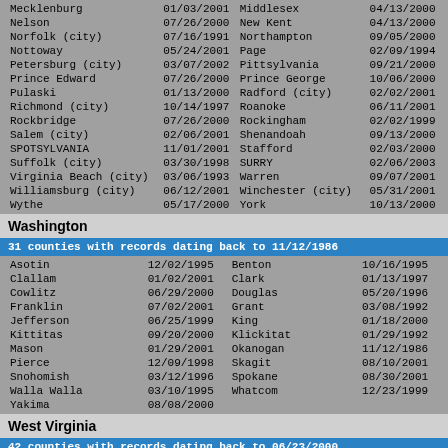| County | Date | County | Date |
| --- | --- | --- | --- |
| Mecklenburg | 01/03/2001 | Middlesex | 04/13/2000 |
| Nelson | 07/26/2000 | New Kent | 04/13/2000 |
| Norfolk (city) | 07/16/1991 | Northampton | 09/05/2000 |
| Nottoway | 05/24/2001 | Page | 02/09/1994 |
| Petersburg (city) | 03/07/2002 | Pittsylvania | 09/21/2000 |
| Prince Edward | 07/26/2000 | Prince George | 10/06/2000 |
| Pulaski | 01/13/2000 | Radford (city) | 02/02/2001 |
| Richmond (city) | 10/14/1997 | Roanoke | 06/11/2001 |
| Rockbridge | 07/26/2000 | Rockingham | 02/02/1999 |
| Salem (city) | 02/06/2001 | Shenandoah | 09/13/2000 |
| SPOTSYLVANIA | 11/01/2001 | Stafford | 02/03/2000 |
| Suffolk (city) | 03/30/1998 | SURRY | 02/06/2003 |
| Virginia Beach (city) | 03/06/1993 | Warren | 09/07/2001 |
| Williamsburg (city) | 06/12/2001 | Winchester (city) | 05/31/2001 |
| Wythe | 05/17/2000 | York | 10/13/2000 |
Washington
31 counties with records dating back to 11/12/1986
| County | Date | County | Date |
| --- | --- | --- | --- |
| Asotin | 12/02/1995 | Benton | 10/16/1995 |
| Clallam | 01/02/2001 | Clark | 01/13/1997 |
| Cowlitz | 06/29/2000 | Douglas | 05/20/1996 |
| Franklin | 07/02/2001 | Grant | 03/08/1992 |
| Jefferson | 06/25/1999 | King | 01/18/2000 |
| Kittitas | 09/20/2000 | Klickitat | 01/29/1992 |
| Mason | 01/29/2001 | Okanogan | 11/12/1986 |
| Pierce | 12/09/1998 | Skagit | 08/10/2001 |
| Snohomish | 03/12/1996 | Spokane | 08/30/2001 |
| Walla Walla | 03/10/1995 | Whatcom | 12/23/1999 |
| Yakima | 08/08/2000 |  |  |
West Virginia
42 counties with records dating back to 06/23/2000
| County | Date | County | Date |
| --- | --- | --- | --- |
| Barbour | 05/07/2001 | Berkeley | 09/28/2000 |
| Cabell | 06/23/2000 | Calhoun | 05/01/2001 |
| Doddridge | 07/25/2001 | Gilmer | 07/25/2001 |
| Greenbrier | 05/17/2001 | Hampshire | 05/10/2001 |
| Hardy | 02/02/2001 | Harrison | 04/06/2001 |
| Jefferson | 03/20/2001 | Kanawha | 03/08/2001 |